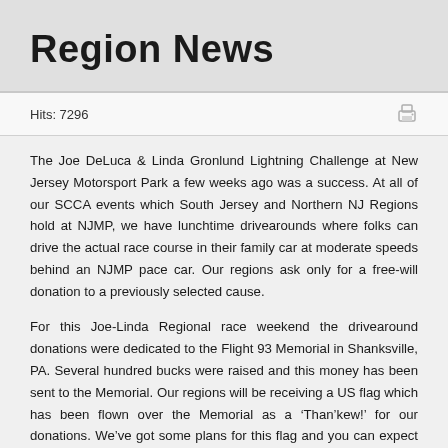Region News
Hits: 7296
The Joe DeLuca & Linda Gronlund Lightning Challenge at New Jersey Motorsport Park a few weeks ago was a success. At all of our SCCA events which South Jersey and Northern NJ Regions hold at NJMP, we have lunchtime drivearounds where folks can drive the actual race course in their family car at moderate speeds behind an NJMP pace car. Our regions ask only for a free-will donation to a previously selected cause.
For this Joe-Linda Regional race weekend the drivearound donations were dedicated to the Flight 93 Memorial in Shanksville, PA. Several hundred bucks were raised and this money has been sent to the Memorial. Our regions will be receiving a US flag which has been flown over the Memorial as a ‘Than’kew!’ for our donations. We’ve got some plans for this flag and you can expect to read more about it in the next issue.
And I am delighted to report that Pocono International Raceway has also donated to the Flight 93 Memorial! A few years ago NASCAR began...